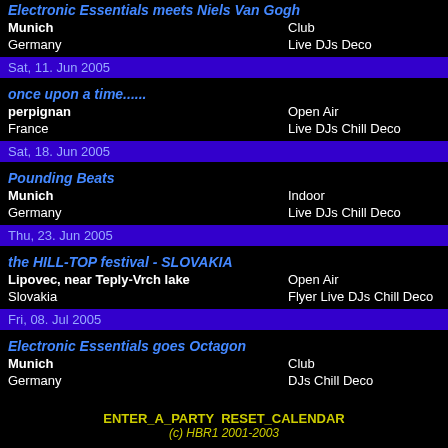Electronic Essentials meets Niels Van Gogh
Munich | Club
Germany | Live DJs Deco
Sat, 11. Jun 2005
once upon a time......
perpignan | Open Air
France | Live DJs Chill Deco
Sat, 18. Jun 2005
Pounding Beats
Munich | Indoor
Germany | Live DJs Chill Deco
Thu, 23. Jun 2005
the HILL-TOP festival - SLOVAKIA
Lipovec, near Teply-Vrch lake | Open Air
Slovakia | Flyer Live DJs Chill Deco
Fri, 08. Jul 2005
Electronic Essentials goes Octagon
Munich | Club
Germany | DJs Chill Deco
ENTER_A_PARTY RESET_CALENDAR
(c) HBR1 2001-2003